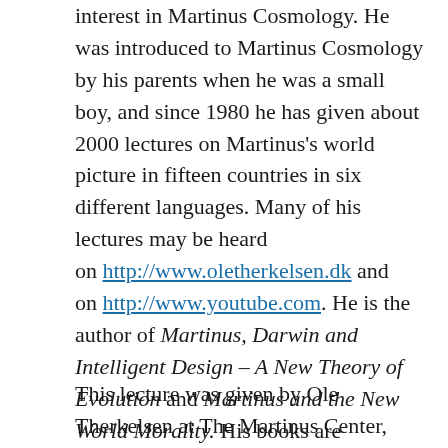interest in Martinus Cosmology. He was introduced to Martinus Cosmology by his parents when he was a small boy, and since 1980 he has given about 2000 lectures on Martinus's world picture in fifteen countries in six different languages. Many of his lectures may be heard on http://www.oletherkelsen.dk and on http://www.youtube.com. He is the author of Martinus, Darwin and Intelligent Design – A New Theory of Evolution and Martinus and the New World Morality. His books are available from http://amazon.com and http://amazon.co.uk.
This lecture was given by Ole Therkelsen at The Martinus Center, Klint, Denmark on 2nd August